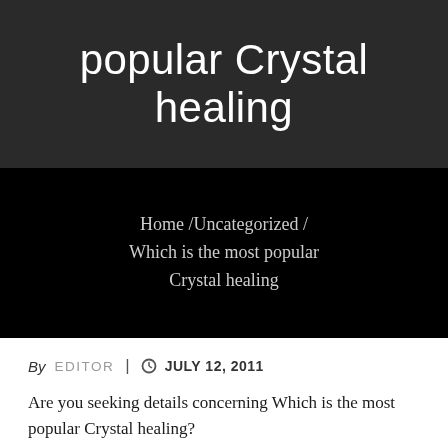popular Crystal healing
Home /Uncategorized / Which is the most popular Crystal healing
By  EDITOR  |  JULY 12, 2011
Are you seeking details concerning Which is the most popular Crystal healing?
The art of making jewelry has been around for